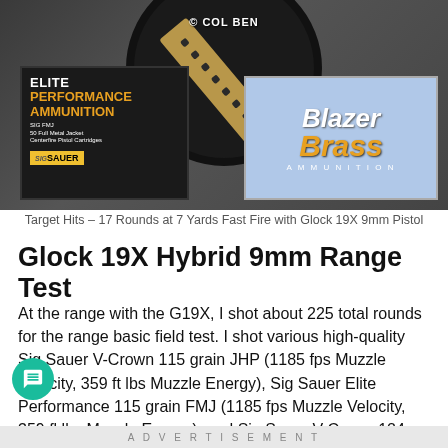[Figure (photo): Photo of ammunition boxes (Sig Sauer Elite Performance Ammunition and Blazer Brass) with a shooting target and a pistol magazine/grip on a wooden surface. Watermark reads '© COL BEN'.]
Target Hits – 17 Rounds at 7 Yards Fast Fire with Glock 19X 9mm Pistol
Glock 19X Hybrid 9mm Range Test
At the range with the G19X, I shot about 225 total rounds for the range basic field test. I shot various high-quality Sig Sauer V-Crown 115 grain JHP (1185 fps Muzzle Velocity, 359 ft lbs Muzzle Energy), Sig Sauer Elite Performance 115 grain FMJ (1185 fps Muzzle Velocity, 359 fl lbs Muzzle Energy), and Sig Sauer V-Crown 124 grain JHP  (1165 fps Muzzle Velocity, 374 ft lbs Muzzle Energy) ammo. I also ht and shot about 100 rounds of Blazer Brass 124
ADVERTISEMENT